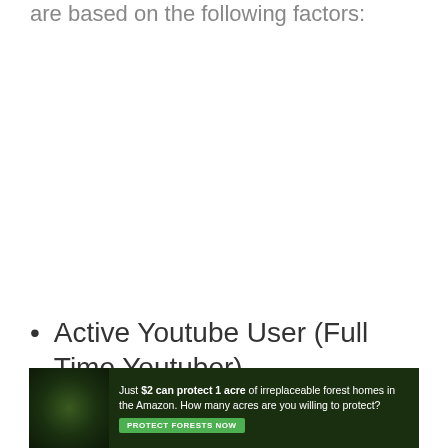are based on the following factors:
Active Youtube User (Full Time Youtuber)
Net Worth
[Figure (infographic): Advertisement banner: forest/Amazon conservation ad. Text reads: 'Just $2 can protect 1 acre of irreplaceable forest homes in the Amazon. How many acres are you willing to protect?' with a green 'PROTECT FORESTS NOW' button.]